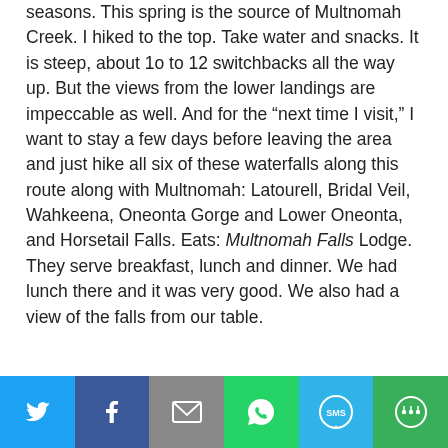seasons. This spring is the source of Multnomah Creek. I hiked to the top. Take water and snacks. It is steep, about 1o to 12 switchbacks all the way up. But the views from the lower landings are impeccable as well. And for the “next time I visit,” I want to stay a few days before leaving the area and just hike all six of these waterfalls along this route along with Multnomah: Latourell, Bridal Veil, Wahkeena, Oneonta Gorge and Lower Oneonta, and Horsetail Falls. Eats: Multnomah Falls Lodge. They serve breakfast, lunch and dinner. We had lunch there and it was very good. We also had a view of the falls from our table.
[Figure (infographic): Social share bar with six buttons: Twitter (blue), Facebook (dark blue), Email (gray), WhatsApp (green), SMS (light blue), More/share (green)]